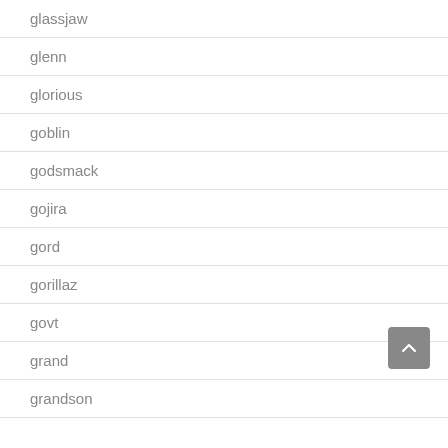glassjaw
glenn
glorious
goblin
godsmack
gojira
gord
gorillaz
govt
grand
grandson